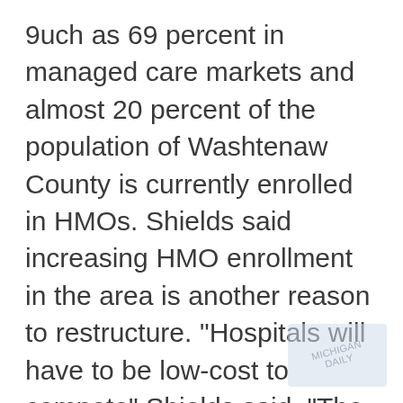9uch as 69 percent in managed care markets and almost 20 percent of the population of Washtenaw County is currently enrolled in HMOs. Shields said increasing HMO enrollment in the area is another reason to restructure. "Hospitals will have to be low-cost to compete" Shields said. "The University is now the highest cost-per-case provider in its market. It must Weome the lowest-cost provider" Shields said the University must decrease business risks and increase business opportunity for the Medical